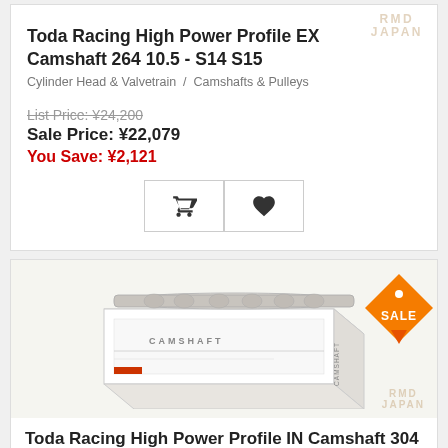[Figure (logo): RMD JAPAN watermark logo top right]
Toda Racing High Power Profile EX Camshaft 264 10.5 - S14 S15
Cylinder Head & Valvetrain  /  Camshafts & Pulleys
List Price: ¥24,200
Sale Price: ¥22,079
You Save: ¥2,121
[Figure (illustration): Cart icon button and heart/wishlist icon button]
[Figure (photo): Photo of Toda Racing camshaft product box (white box with camshaft visible on top), with RMD JAPAN watermark overlay and orange SALE badge in top right corner]
Toda Racing High Power Profile IN Camshaft 304 10.5